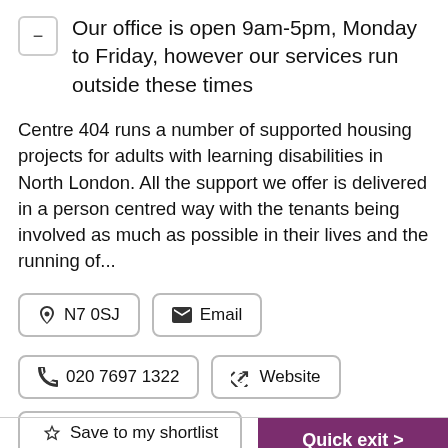Our office is open 9am-5pm, Monday to Friday, however our services run outside these times
Centre 404 runs a number of supported housing projects for adults with learning disabilities in North London. All the support we offer is delivered in a person centred way with the tenants being involved as much as possible in their lives and the running of...
N7 0SJ
Email
020 7697 1322
Website
Save to my shortlist
Quick exit >